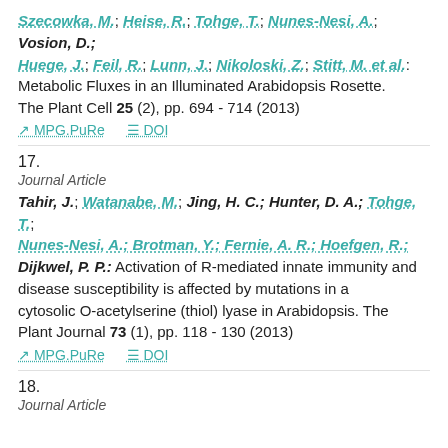Szecowka, M.; Heise, R.; Tohge, T.; Nunes-Nesi, A.; Vosion, D.; Huege, J.; Feil, R.; Lunn, J.; Nikoloski, Z.; Stitt, M. et al.: Metabolic Fluxes in an Illuminated Arabidopsis Rosette. The Plant Cell 25 (2), pp. 694 - 714 (2013)
MPG.PuRe   DOI
17.
Journal Article
Tahir, J.; Watanabe, M.; Jing, H. C.; Hunter, D. A.; Tohge, T.; Nunes-Nesi, A.; Brotman, Y.; Fernie, A. R.; Hoefgen, R.; Dijkwel, P. P.: Activation of R-mediated innate immunity and disease susceptibility is affected by mutations in a cytosolic O-acetylserine (thiol) lyase in Arabidopsis. The Plant Journal 73 (1), pp. 118 - 130 (2013)
MPG.PuRe   DOI
18.
Journal Article